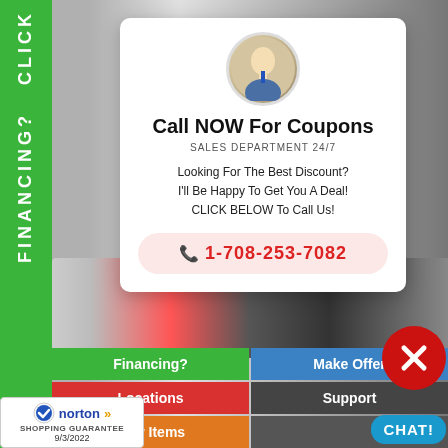FINANCING? CLICK
[Figure (photo): Circular avatar photo of a man in a suit and blue tie]
Call NOW For Coupons
SALES DEPARTMENT 24/7
Looking For The Best Discount?
I'll Be Happy To Get You A Deal!
CLICK BELOW To Call Us!
📞 1-708-253-7082
[Figure (photo): Background photo of a red mobility scooter/vehicle]
Financing?
Make Offer
Locations
Support
New Items
[Figure (logo): Norton Shopping Guarantee badge with checkmark, dated 9/3/2022]
[Figure (illustration): Red circle with X close button]
CHAT!